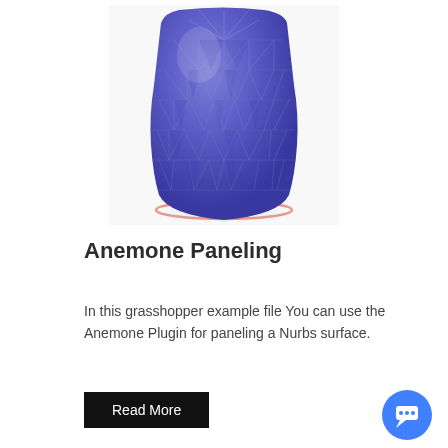[Figure (illustration): A 3D rendered purple/blue geometric vase or cup shape with triangular faceted paneling pattern covering the surface, sitting on a light gray background with a subtle shadow. The object appears to be a Nurbs surface with Anemone plugin paneling applied in Grasshopper.]
Anemone Paneling
In this grasshopper example file You can use the Anemone Plugin for paneling a Nurbs surface.
Read More